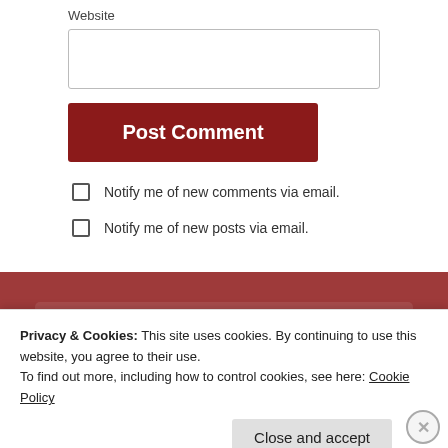Website
[Figure (screenshot): Empty text input field for website URL]
[Figure (screenshot): Post Comment button (dark red)]
Notify me of new comments via email.
Notify me of new posts via email.
Welcome to the official website of conservative
Privacy & Cookies: This site uses cookies. By continuing to use this website, you agree to their use. To find out more, including how to control cookies, see here: Cookie Policy
Close and accept